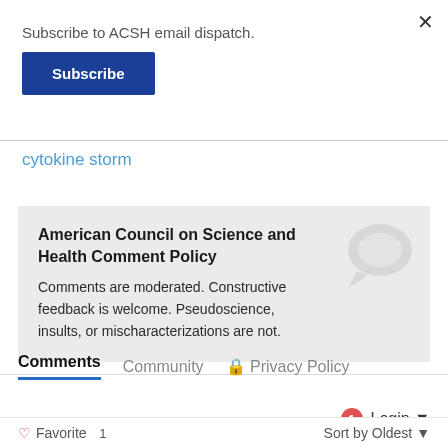Subscribe to ACSH email dispatch.
Subscribe
cytokine storm
American Council on Science and Health Comment Policy
Comments are moderated. Constructive feedback is welcome. Pseudoscience, insults, or mischaracterizations are not.
Comments  Community  Privacy Policy
Login
Favorite  1  Sort by Oldest